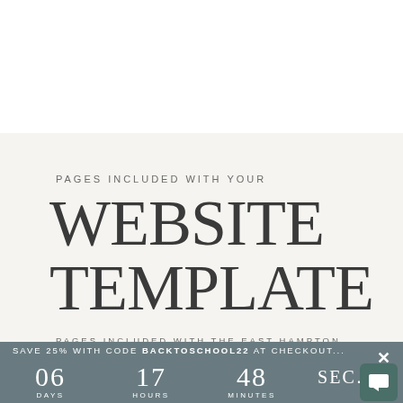PAGES INCLUDED WITH YOUR
WEBSITE TEMPLATE
PAGES INCLUDED WITH THE EAST HAMPTON
SAVE 25% WITH CODE BACKTOSCHOOL22 AT CHECKOUT...
06 DAYS  17 HOURS  48 MINUTES  SEC...S